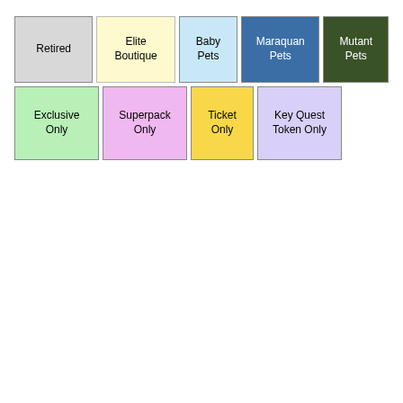[Figure (infographic): Legend grid showing colored boxes: Retired (gray), Elite Boutique (pale yellow), Baby Pets (light blue), Maraquan Pets (steel blue, white text), Mutant Pets (dark green, white text), Exclusive Only (light green), Superpack Only (light pink/purple), Ticket Only (yellow), Key Quest Token Only (light lavender)]
| Category | Color |
| --- | --- |
| Retired | gray |
| Elite Boutique | pale yellow |
| Baby Pets | light blue |
| Maraquan Pets | steel blue |
| Mutant Pets | dark green |
| Exclusive Only | light green |
| Superpack Only | light pink |
| Ticket Only | yellow |
| Key Quest Token Only | lavender |
Possible Special Items You Can Get
[Figure (illustration): Crackling Ice Effect item card showing an ice-crackle pattern image on a light green background with a circled number 2 badge and orange label text reading 'Crackling Ice Effect']